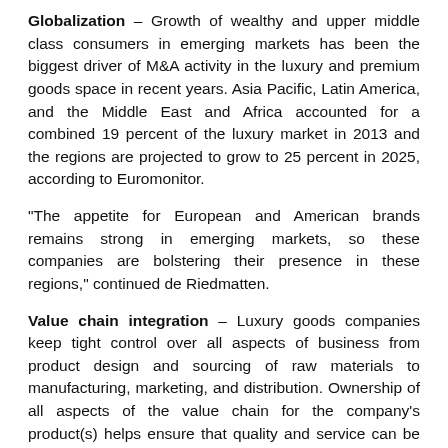Globalization – Growth of wealthy and upper middle class consumers in emerging markets has been the biggest driver of M&A activity in the luxury and premium goods space in recent years. Asia Pacific, Latin America, and the Middle East and Africa accounted for a combined 19 percent of the luxury market in 2013 and the regions are projected to grow to 25 percent in 2025, according to Euromonitor.
“The appetite for European and American brands remains strong in emerging markets, so these companies are bolstering their presence in these regions,” continued de Riedmatten.
Value chain integration – Luxury goods companies keep tight control over all aspects of business from product design and sourcing of raw materials to manufacturing, marketing, and distribution. Ownership of all aspects of the value chain for the company’s product(s) helps ensure that quality and service can be maintained, thus protecting brand heritage. As a result, vertical integration has become another important driver of M&A activity in the luxury goods sector.
Consolidation as a growth strategy – Industry consolidation is another factor driving M&A activity, with the consolidators